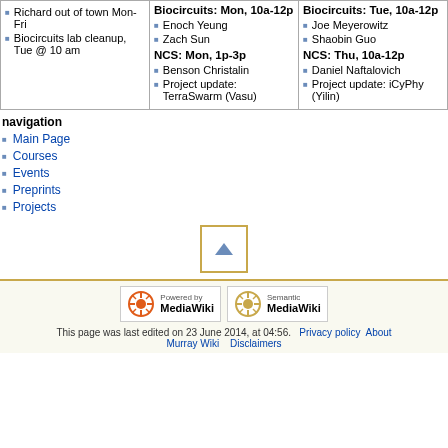| Col1 | Biocircuits: Mon, 10a-12p | Biocircuits: Tue, 10a-12p |
| --- | --- | --- |
| Richard out of town Mon-Fri
Biocircuits lab cleanup, Tue @ 10 am | Enoch Yeung
Zach Sun
NCS: Mon, 1p-3p
Benson Christalin
Project update: TerraSwarm (Vasu) | Joe Meyerowitz
Shaobin Guo
NCS: Thu, 10a-12p
Daniel Naftalovich
Project update: iCyPhy (Yilin) |
navigation
Main Page
Courses
Events
Preprints
Projects
[Figure (other): Scroll to top button with upward triangle arrow, orange/gold border]
[Figure (logo): Powered by MediaWiki badge]
[Figure (logo): Semantic MediaWiki badge]
This page was last edited on 23 June 2014, at 04:56.  Privacy policy  About  Murray Wiki  Disclaimers